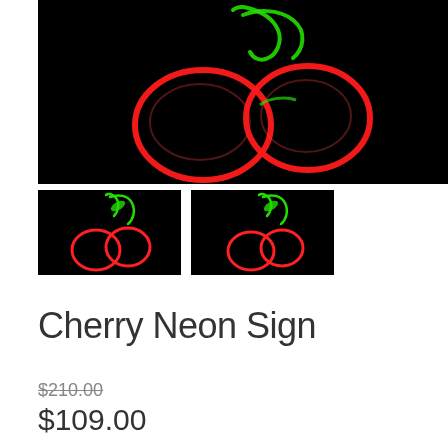[Figure (photo): Large neon cherry sign on black background. Two cherries outlined in bright red neon light with a green neon stem on top.]
[Figure (photo): Small thumbnail of neon cherry sign on black background, showing full cherry outline in red and green neon.]
[Figure (photo): Small thumbnail of neon cherry sign on black background, slightly different angle or variant.]
Cherry Neon Sign
$210.00
$109.00